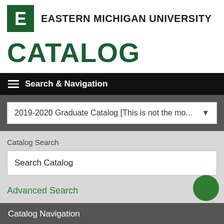[Figure (logo): Eastern Michigan University logo: green square with white letter E, followed by bold text EASTERN MICHIGAN UNIVERSITY]
CATALOG
Search & Navigation
2019-2020 Graduate Catalog [This is not the mo...
Catalog Search
Search Catalog
Advanced Search
Catalog Navigation